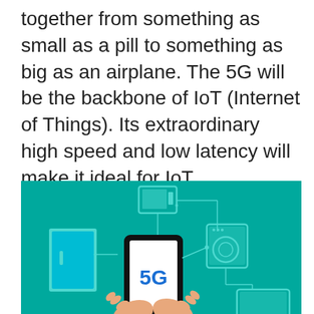together from something as small as a pill to something as big as an airplane. The 5G will be the backbone of IoT (Internet of Things). Its extraordinary high speed and low latency will make it ideal for IoT.
[Figure (illustration): IoT illustration on teal/green background showing a pair of hands holding a smartphone displaying '5G' in blue text on a white screen. Connected via lines to various smart devices: a microwave oven (top center), a smart door/refrigerator (left), a washing machine (right), and a monitor/TV (bottom right). Devices are depicted in cyan/light blue on the teal background.]